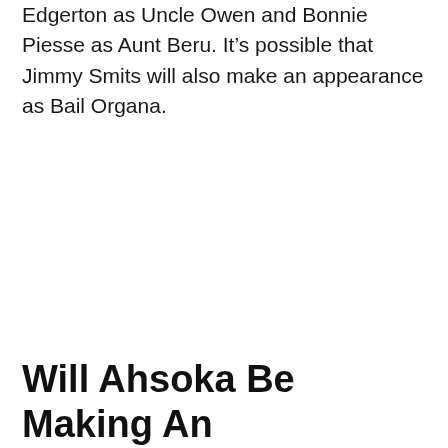Edgerton as Uncle Owen and Bonnie Piesse as Aunt Beru. It's possible that Jimmy Smits will also make an appearance as Bail Organa.
Will Ahsoka Be Making An